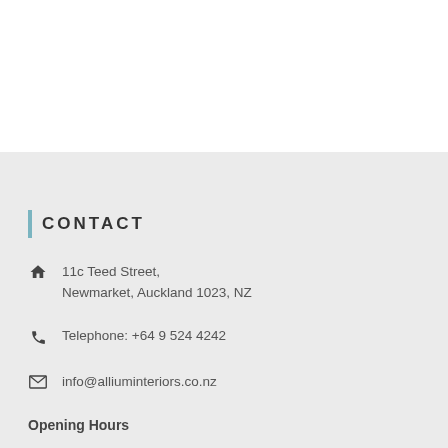CONTACT
11c Teed Street, Newmarket, Auckland 1023, NZ
Telephone: +64 9 524 4242
info@alliuminteriors.co.nz
Opening Hours